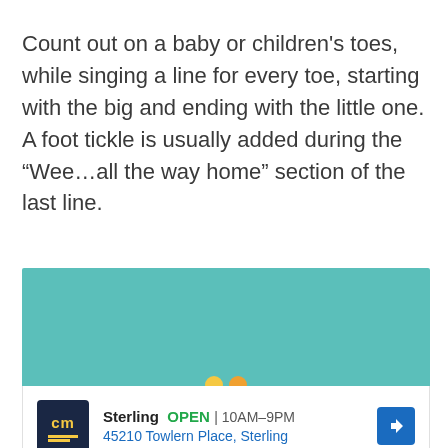Count out on a baby or children's toes, while singing a line for every toe, starting with the big and ending with the little one. A foot tickle is usually added during the “Wee…all the way home” section of the last line.
[Figure (screenshot): Advertisement banner with teal background and a store listing for Sterling (OPEN 10AM-9PM, 45210 Towlern Place, Sterling) with a CM logo and navigation arrow icon.]